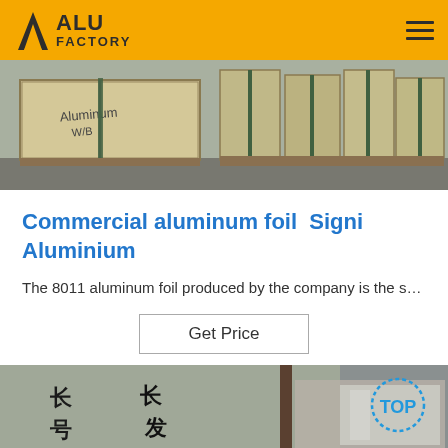ALU FACTORY
[Figure (photo): Warehouse interior showing stacked aluminum sheet packages on pallets with metal strapping]
Commercial aluminum foil  Signi Aluminium
The 8011 aluminum foil produced by the company is the s…
Get Price
[Figure (photo): Close-up of aluminum foil rolls in a warehouse with Chinese characters written in black marker; 'TOP' badge in blue dotted circle in lower right corner]